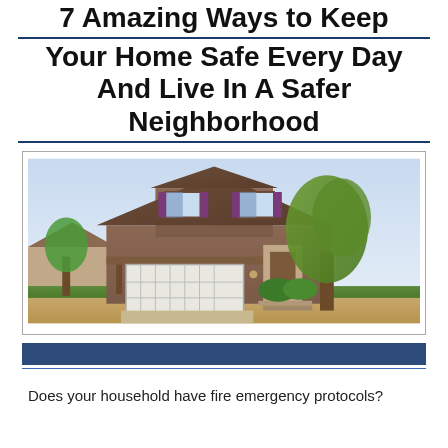7 Amazing Ways to Keep Your Home Safe Every Day And Live In A Safer Neighborhood
[Figure (photo): Photograph of a two-story suburban house with brown siding, purple shutters, a white garage door, and trees in the background.]
Does your household have fire emergency protocols?